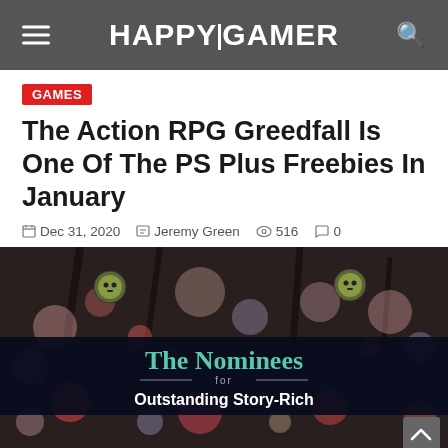HAPPYGAMER
GAMES
The Action RPG Greedfall Is One Of The PS Plus Freebies In January
Dec 31, 2020   Jeremy Green   516   0
[Figure (screenshot): A dark, colorful game screenshot with colorful bokeh lights and small character icons, overlaid with a dark banner reading 'The Nominees for Outstanding Story-Rich']